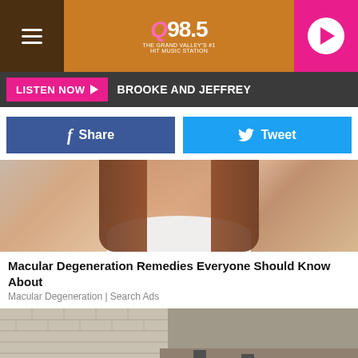Q98.5 The Grand Valley's #1 Hit Music Station
LISTEN NOW ▶  BROOKE AND JEFFREY
f Share
Tweet
[Figure (photo): Woman touching her cheeks/neck smiling, white shirt, advertisement image]
Macular Degeneration Remedies Everyone Should Know About
Macular Degeneration | Search Ads
[Figure (photo): Construction site showing excavated earth with brick retaining wall and metal bracing supports]